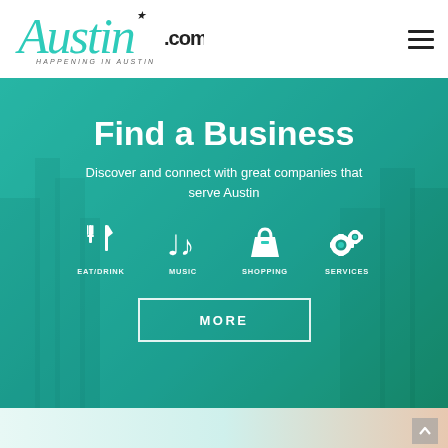[Figure (logo): Austin.com logo with teal script font, star above the i, .COM in black sans-serif, tagline HAPPENING IN AUSTIN below]
Find a Business
Discover and connect with great companies that serve Austin
[Figure (infographic): Four category icons in white: EAT/DRINK (fork and knife), MUSIC (music notes), SHOPPING (handbag), SERVICES (gears)]
MORE
[Figure (photo): Bottom strip showing teal and warm-toned partial image, with scroll-to-top arrow in bottom right]